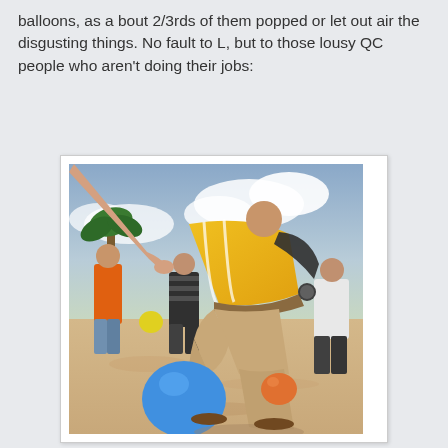balloons, as a bout 2/3rds of them popped or let out air the disgusting things. No fault to L, but to those lousy QC people who aren't doing their jobs:
[Figure (photo): Outdoor beach scene with people playing a balloon game. In the foreground, a person in a yellow striped shirt and khaki pants is bending over a large blue balloon on sandy ground. Another person's arm reaches in from the upper left. Several other people are visible in the background on what appears to be a beach with palm trees and a cloudy sky. An orange balloon is also visible on the ground.]